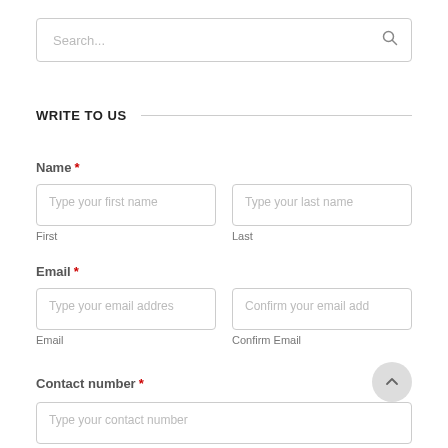[Figure (screenshot): Search input box with placeholder text 'Search...' and a search icon on the right]
WRITE TO US
Name *
[Figure (screenshot): Two text input fields for first name and last name with placeholder text and sub-labels 'First' and 'Last']
Email *
[Figure (screenshot): Two text input fields for email address and confirm email address with placeholder text and sub-labels 'Email' and 'Confirm Email']
Contact number *
[Figure (screenshot): Text input field for contact number with placeholder text 'Type your contact number']